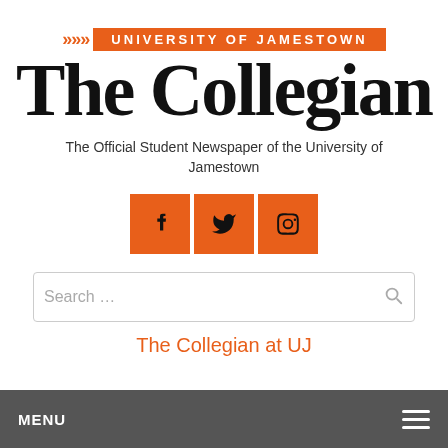[Figure (logo): University of Jamestown The Collegian newspaper logo with orange banner and chevron arrows]
The Official Student Newspaper of the University of Jamestown
[Figure (infographic): Three orange social media icon buttons: Facebook, Twitter, Instagram]
Search ...
The Collegian at UJ
MENU